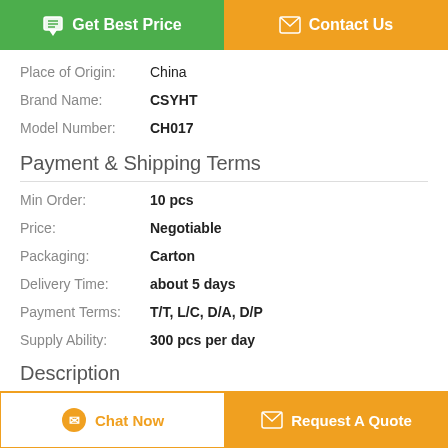[Figure (other): Green 'Get Best Price' button with chat icon and orange 'Contact Us' button with envelope icon]
Place of Origin: China
Brand Name: CSYHT
Model Number: CH017
Payment & Shipping Terms
Min Order: 10 pcs
Price: Negotiable
Packaging: Carton
Delivery Time: about 5 days
Payment Terms: T/T, L/C, D/A, D/P
Supply Ability: 300 pcs per day
Description
[Figure (other): Orange 'Chat Now' button and orange 'Request A Quote' button at the bottom]